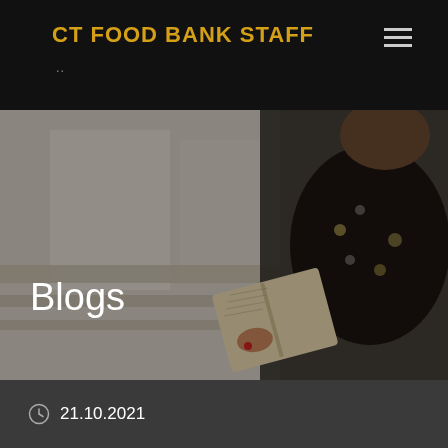CT FOOD BANK STAFF
[Figure (photo): Hero banner showing a woman in a dark floral dress reading an open book, with a blurred indoor background. Overlaid with the word 'Blogs' in white text.]
Blogs
21.10.2021